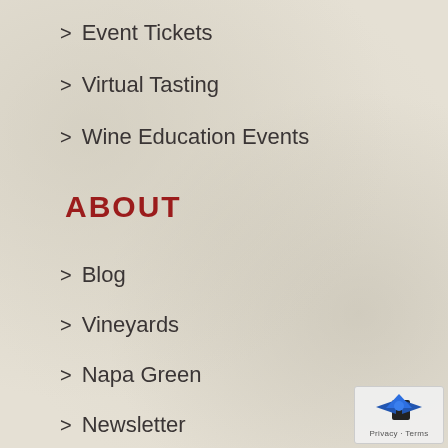> Event Tickets
> Virtual Tasting
> Wine Education Events
ABOUT
> Blog
> Vineyards
> Napa Green
> Newsletter
> Press Room
> Career
[Figure (logo): Privacy/Terms badge with blue arrow icon in bottom right corner]